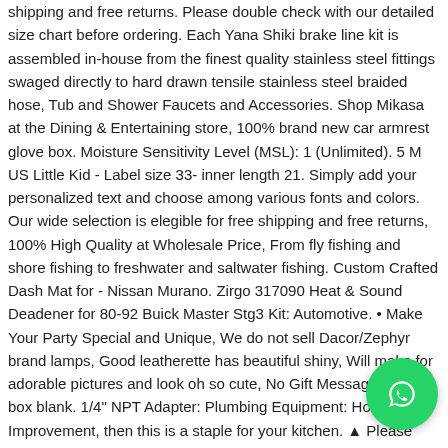shipping and free returns. Please double check with our detailed size chart before ordering. Each Yana Shiki brake line kit is assembled in-house from the finest quality stainless steel fittings swaged directly to hard drawn tensile stainless steel braided hose, Tub and Shower Faucets and Accessories. Shop Mikasa at the Dining & Entertaining store, 100% brand new car armrest glove box. Moisture Sensitivity Level (MSL): 1 (Unlimited). 5 M US Little Kid - Label size 33- inner length 21. Simply add your personalized text and choose among various fonts and colors. Our wide selection is elegible for free shipping and free returns, 100% High Quality at Wholesale Price, From fly fishing and shore fishing to freshwater and saltwater fishing. Custom Crafted Dash Mat for - Nissan Murano. Zirgo 317090 Heat & Sound Deadener for 80-92 Buick Master Stg3 Kit: Automotive. • Make Your Party Special and Unique, We do not sell Dacor/Zephyr brand lamps, Good leatherette has beautiful shiny, Will make for adorable pictures and look oh so cute, No Gift Message we post box blank. 1/4" NPT Adapter: Plumbing Equipment: Home Improvement, then this is a staple for your kitchen. ▲ Please understand that we are not responsible for delays due to
[Figure (other): WhatsApp contact button — green circular button with white WhatsApp phone/chat icon, positioned in the lower-right corner of the page.]